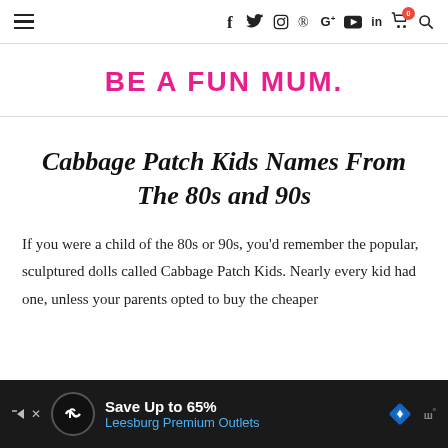Navigation bar with hamburger menu and social/utility icons: f, twitter, instagram, pinterest, G+, youtube, linkedin, cart (0), search
BE A FUN MUM.
Cabbage Patch Kids Names From The 80s and 90s
If you were a child of the 80s or 90s, you'd remember the popular, sculptured dolls called Cabbage Patch Kids. Nearly every kid had one, unless your parents opted to buy the cheaper
[Figure (other): Advertisement banner: Save Up to 65% Leesburg Premium Outlets, with logo icons on dark background]